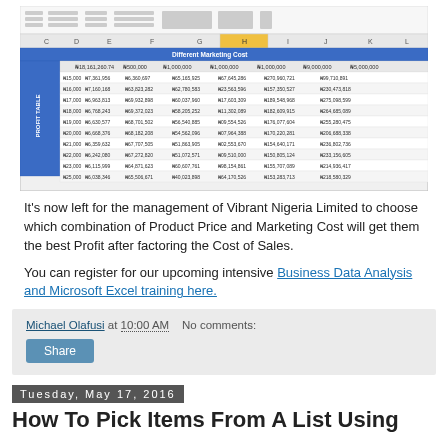[Figure (screenshot): Screenshot of a Microsoft Excel spreadsheet showing a data table with columns for Product Price and Marketing Cost, with Nigerian Naira currency values in multiple rows and columns.]
It's now left for the management of Vibrant Nigeria Limited to choose which combination of Product Price and Marketing Cost will get them the best Profit after factoring the Cost of Sales.
You can register for our upcoming intensive Business Data Analysis and Microsoft Excel training here.
Michael Olafusi at 10:00 AM   No comments:
Share
Tuesday, May 17, 2016
How To Pick Items From A List Using